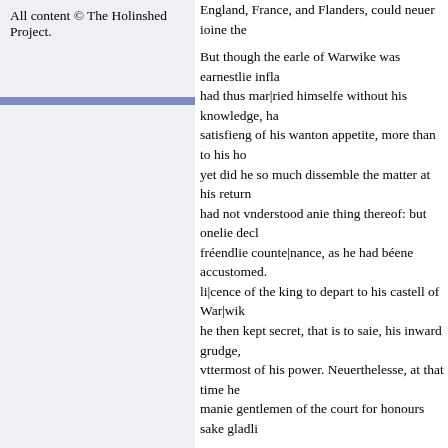All content © The Holinshed Project.
England, France, and Flanders, could neuer ioine the...
But though the earle of Warwike was earnestlie infla... had thus mar|ried himselfe without his knowledge, ha... satisfieng of his wanton appetite, more than to his ho... yet did he so much dissemble the matter at his return... had not vnderstood anie thing thereof: but onelie decl... fréendlie counte|nance, as he had béene accustomed. ... li|cence of the king to depart to his castell of War|wik... he then kept secret, that is to saie, his inward grudge,... vttermost of his power. Neuerthelesse, at that time he... manie gentlemen of the court for honours sake gladli...
¶This yéere it was proclamed in England,
Abr. Fl. ex I. S. pag. 717.
Long piked shooes forbid|den.
that the beakes or pikes of shooes and boots should n... forfeiting twentie shillings, to be paid one noble to th... chamber of London; and for other cities and townes t... our Lord 1382, the pikes of shooes and boots were of...